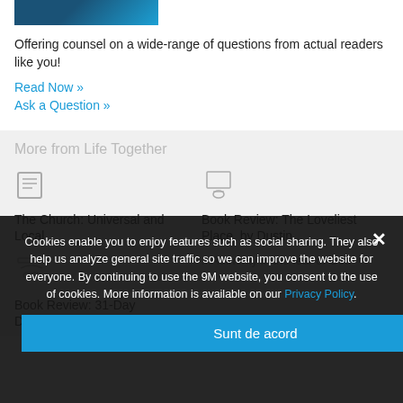[Figure (photo): Partial book cover image with blue gradient colors]
Offering counsel on a wide-range of questions from actual readers like you!
Read Now »
Ask a Question »
More from Life Together
[Figure (illustration): Article/document icon]
The Church: Universal and Local
[Figure (illustration): Person/reader icon]
Book Review: The Loveliest Place, by Dustin...
[Figure (illustration): Link/chain icon]
Book Review: 31-Day Devotionals for Life
...Authority in the fear of God
Cookies enable you to enjoy features such as social sharing. They also help us analyze general site traffic so we can improve the website for everyone. By continuing to use the 9M website, you consent to the use of cookies. More information is available on our Privacy Policy.
Sunt de acord